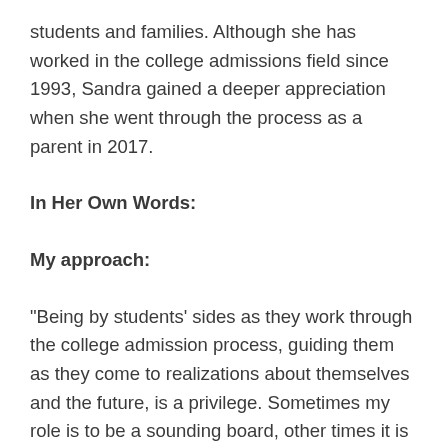students and families. Although she has worked in the college admissions field since 1993, Sandra gained a deeper appreciation when she went through the process as a parent in 2017.
In Her Own Words:
My approach:
“Being by students’ sides as they work through the college admission process, guiding them as they come to realizations about themselves and the future, is a privilege. Sometimes my role is to be a sounding board, other times it is to be a cheerleader or task master. All of the time, I offer a wealth of experience and deep familiarity